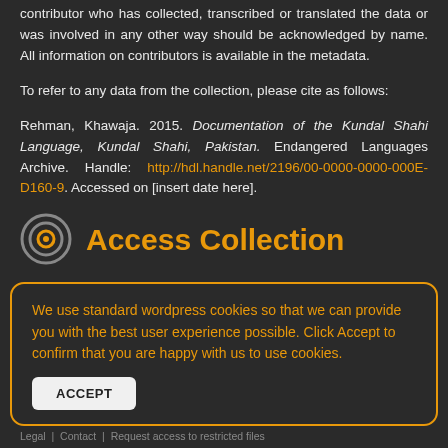contributor who has collected, transcribed or translated the data or was involved in any other way should be acknowledged by name. All information on contributors is available in the metadata.
To refer to any data from the collection, please cite as follows:
Rehman, Khawaja. 2015. Documentation of the Kundal Shahi Language, Kundal Shahi, Pakistan. Endangered Languages Archive. Handle: http://hdl.handle.net/2196/00-0000-0000-000E-D160-9. Accessed on [insert date here].
Access Collection
We use standard wordpress cookies so that we can provide you with the best user experience possible. Click Accept to confirm that you are happy with us to use cookies.
Legal | Contact | Request access to restricted files